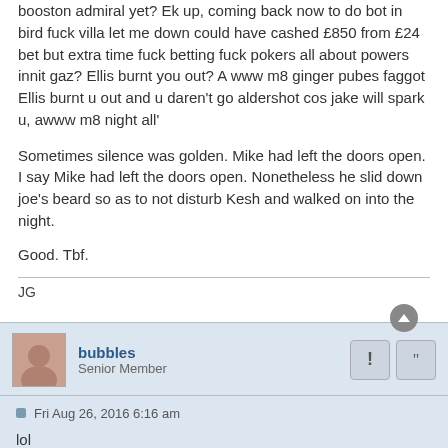booston admiral yet? Ek up, coming back now to do bot in bird fuck villa let me down could have cashed £850 from £24 bet but extra time fuck betting fuck pokers all about powers innit gaz? Ellis burnt you out? A www m8 ginger pubes faggot Ellis burnt u out and u daren't go aldershot cos jake will spark u, awww m8 night all'
Sometimes silence was golden. Mike had left the doors open. I say Mike had left the doors open. Nonetheless he slid down joe's beard so as to not disturb Kesh and walked on into the night.
Good. Tbf.
JG
bubbles
Senior Member
Fri Aug 26, 2016 6:16 am
lol
Going skint....